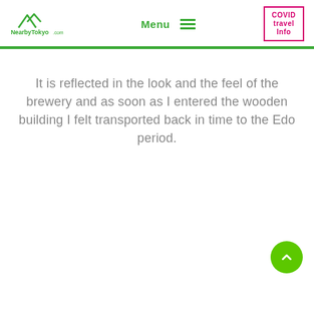NearbyTokyo.com | Menu | COVID travel Info
It is reflected in the look and the feel of the brewery and as soon as I entered the wooden building I felt transported back in time to the Edo period.